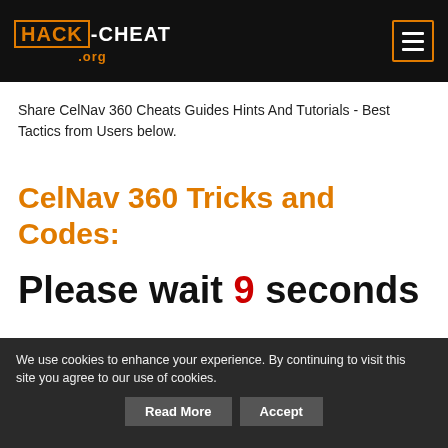HACK-CHEAT .org
Share CelNav 360 Cheats Guides Hints And Tutorials - Best Tactics from Users below.
CelNav 360 Tricks and Codes:
Please wait 9 seconds
We use cookies to enhance your experience. By continuing to visit this site you agree to our use of cookies.